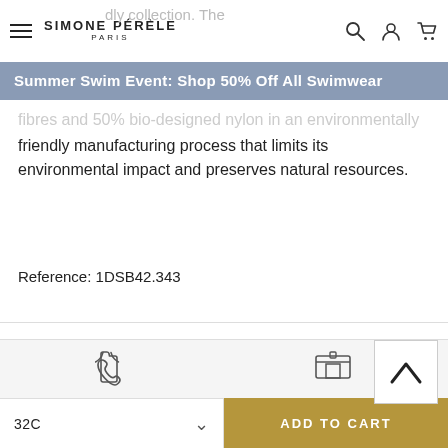Simone Pérèle Paris — navigation bar with hamburger, logo, search, account, cart
Summer Swim Event: Shop 50% Off All Swimwear
this product is French. It contains 100% recycled polyester fibres and 50% bio-designed nylon in an environmentally friendly manufacturing process that limits its environmental impact and preserves natural resources.
Reference: 1DSB42.343
COMPOSITION
SHIPPING AND RETURN
[Figure (other): Back-to-top chevron button]
[Figure (other): Phone icon in footer bar]
[Figure (other): Store/delivery icon in footer bar]
32C
ADD TO CART